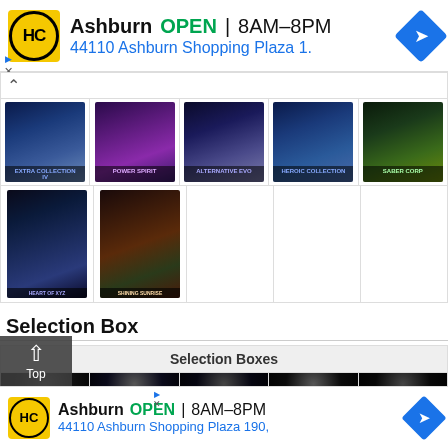[Figure (screenshot): Top advertisement banner for HC store in Ashburn showing logo, OPEN status, hours 8AM-8PM, and address 44110 Ashburn Shopping Plaza 1.]
[Figure (screenshot): Grid of Yu-Gi-Oh card pack images - first row showing 5 card packs, second row showing 2 card packs (Heart of Xyz and Shining Sunrise)]
Selection Box
[Figure (screenshot): Selection Boxes table section header with 5 dark card images below in a grid layout]
[Figure (screenshot): Bottom advertisement banner for HC store in Ashburn showing logo, OPEN status, hours 8AM-8PM, and address 44110 Ashburn Shopping Plaza 190,]